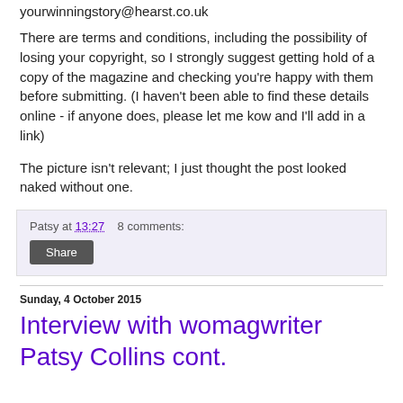yourwinningstory@hearst.co.uk
There are terms and conditions, including the possibility of losing your copyright, so I strongly suggest getting hold of a copy of the magazine and checking you're happy with them before submitting. (I haven't been able to find these details online - if anyone does, please let me kow and I'll add in a link)
The picture isn't relevant; I just thought the post looked naked without one.
Patsy at 13:27    8 comments:
Share
Sunday, 4 October 2015
Interview with womagwriter Patsy Collins cont.